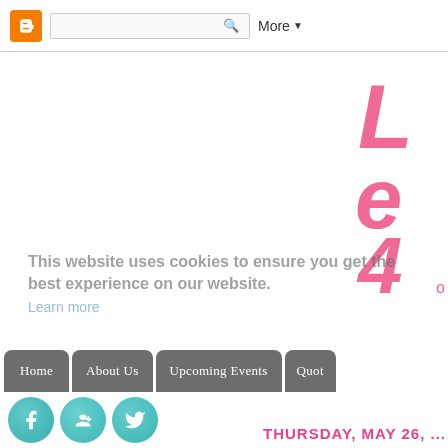[Figure (screenshot): Blogger navigation bar with orange B icon, search box, and More dropdown]
[Figure (logo): Partial pink script/cursive logo text visible at top right, showing partial letters in pink handwritten style]
This website uses cookies to ensure you get the best experience on our website.
Learn more
[Figure (screenshot): Navigation bar with gray rounded buttons: Home, About Us, Upcoming Events, Quot...]
[Figure (screenshot): Social media icon circles: Facebook, Google+, Twitter in teal/turquoise]
THURSDAY, MAY 26, ...